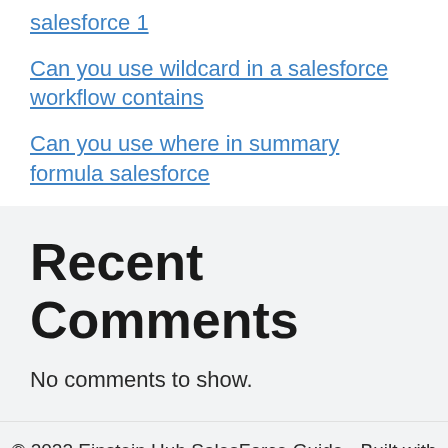salesforce 1
Can you use wildcard in a salesforce workflow contains
Can you use where in summary formula salesforce
Recent Comments
No comments to show.
© 2022 Einstein Hub SalesForce Guide • Built with GeneratePress